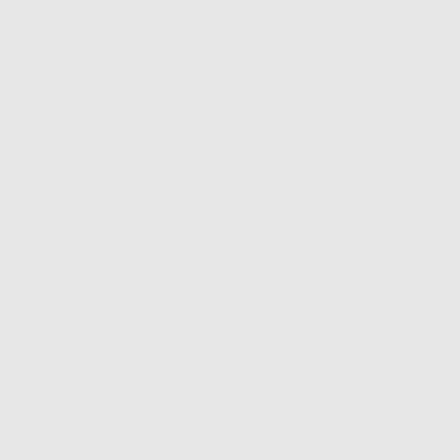<img src="http://i.imgur.com/x64E6.jpg"&gt;
Awesomecake on January 28th, 2012 2:48 am
You're the one responsible for making part of that? Take all the credit you can give!
UndeadLex on January 28th, 2012 2:57 am
I created the original logo in the video, but we really didn't e... explode like it did. So I toiled and boiled over this new one, honestly the one that's in the video was maybe a 10 minute... You can catch me every now and again being a mod on the... the very occasional placement of a block.
FrEEz on January 28th, 2012 4:21 pm
I prefered the old logo more; this one feels like you just tape... word 'HyruleCraft' to the underlying design (which I kind of l... like the old one more)
But damn, good job on making it